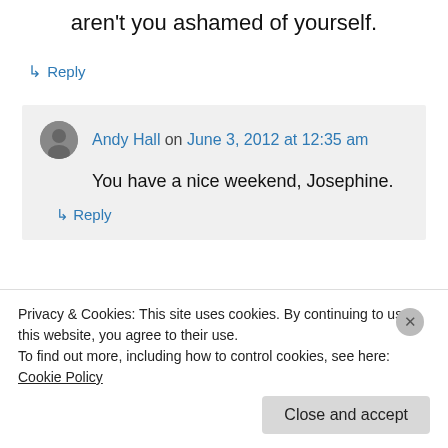aren't you ashamed of yourself.
↳ Reply
Andy Hall on June 3, 2012 at 12:35 am
You have a nice weekend, Josephine.
↳ Reply
Jefferson Moon on June 3, 2012 at 7:56 am
Privacy & Cookies: This site uses cookies. By continuing to use this website, you agree to their use. To find out more, including how to control cookies, see here: Cookie Policy
Close and accept